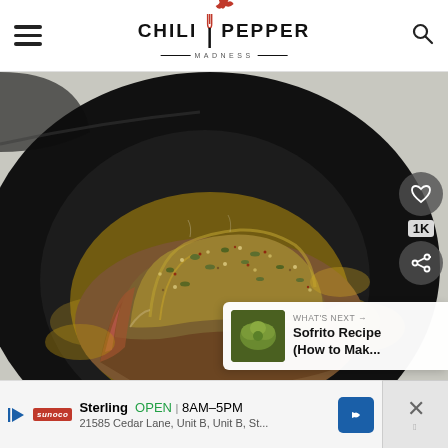CHILI PEPPER MADNESS
[Figure (photo): A seasoned piece of meat (brisket or similar) with green onions and spices/rub coating, sitting in golden-colored oil in a black cast iron skillet, viewed from above at slight angle.]
WHAT'S NEXT → Sofrito Recipe (How to Mak...
Sterling  OPEN | 8AM–5PM  21585 Cedar Lane, Unit B, Unit B, St...